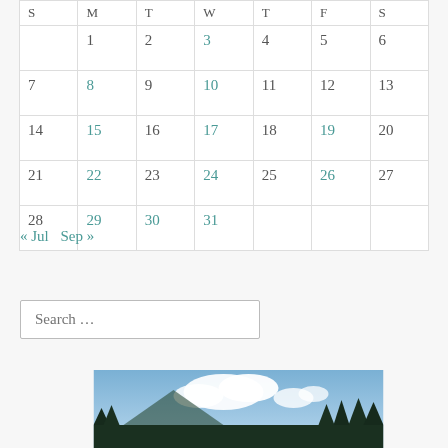| S | M | T | W | T | F | S |
| --- | --- | --- | --- | --- | --- | --- |
|  | 1 | 2 | 3 | 4 | 5 | 6 |
| 7 | 8 | 9 | 10 | 11 | 12 | 13 |
| 14 | 15 | 16 | 17 | 18 | 19 | 20 |
| 21 | 22 | 23 | 24 | 25 | 26 | 27 |
| 28 | 29 | 30 | 31 |  |  |  |
« Jul   Sep »
Search …
[Figure (photo): Landscape photo showing blue sky with white clouds and silhouette of evergreen trees along the bottom edge.]